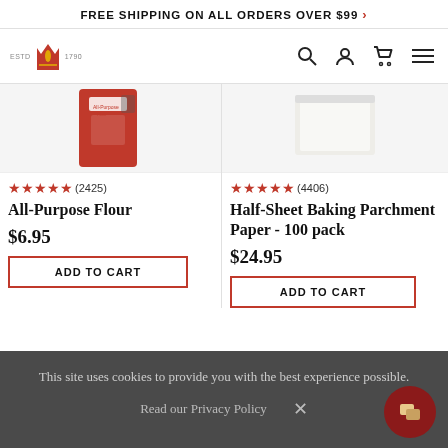FREE SHIPPING ON ALL ORDERS OVER $99 >
[Figure (logo): King Arthur Baking Company logo with crown icon, ESTD 1750]
★★★★★ (2425)
All-Purpose Flour
$6.95
ADD TO CART
[Figure (photo): Red bag of All-Purpose Flour]
★★★★★ (4406)
Half-Sheet Baking Parchment Paper - 100 pack
$24.95
ADD TO CART
[Figure (photo): White package of Half-Sheet Baking Parchment Paper]
This site uses cookies to provide you with the best experience possible.
Read our Privacy Policy
×